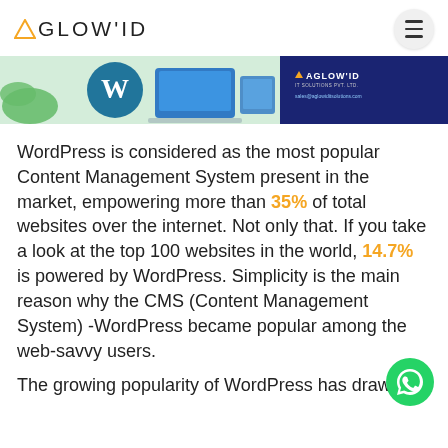AGLOW'ID
[Figure (illustration): Promotional banner showing WordPress and laptop/computer devices on the left with a blue background on the right containing the AGLOWIDITSOLUTIONS PVT. LTD. logo and email sales@aglowiditsolutions.com]
WordPress is considered as the most popular Content Management System present in the market, empowering more than 35% of total websites over the internet. Not only that. If you take a look at the top 100 websites in the world, 14.7% is powered by WordPress. Simplicity is the main reason why the CMS (Content Management System) -WordPress became popular among the web-savvy users.
The growing popularity of WordPress has drawn the attention of the business owners and developers.